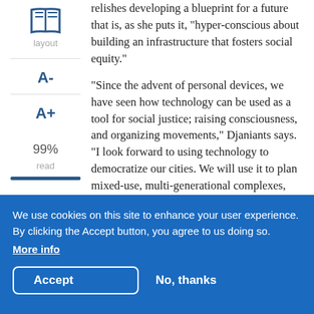[Figure (illustration): Blue open book icon above the word 'layout']
relishes developing a blueprint for a future that is, as she puts it, “hyper-conscious about building an infrastructure that fosters social equity.”
“Since the advent of personal devices, we have seen how technology can be used as a tool for social justice; raising consciousness, and organizing movements,” Djaniants says. “I look forward to using technology to democratize our cities. We will use it to plan mixed-use, multi-generational complexes, eliminating physical and economic barriers to give more access to what people want: work, culture, and nature.”
We use cookies on this site to enhance your user experience. By clicking the Accept button, you agree to us doing so. More info
Accept
No, thanks